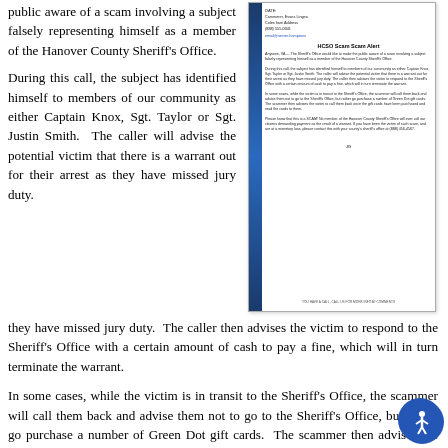public aware of a scam involving a subject falsely representing himself as a member of the Hanover County Sheriff's Office.
[Figure (illustration): Image of an official letter from the Hanover County Sheriff's Office regarding the scam alert, with a blue vertical bar on the left side.]
During this call, the subject has identified himself to members of our community as either Captain Knox, Sgt. Taylor or Sgt. Justin Smith.  The caller will advise the potential victim that there is a warrant out for their arrest as they have missed jury duty.  The caller then advises the victim to respond to the Sheriff's Office with a certain amount of cash to pay a fine, which will in turn terminate the warrant.
In some cases, while the victim is in transit to the Sheriff's Office, the scammer will call them back and advise them not to go to the Sheriff's Office, but rather go purchase a number of Green Dot gift cards.  The scammer then advises the victim to call them back once the gift cards have been purchased and read the numbers off the cards to them.
Please know that this is a SCAM!  No member of the Hanover County Sheriff's Office will ever call our citizens demanding payment as the result of a warrant.  If you have been the victim of such scam, and are at a monetary loss, please